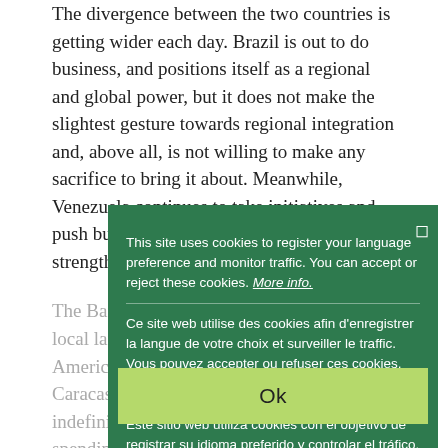The divergence between the two countries is getting wider each day. Brazil is out to do business, and positions itself as a regional and global power, but it does not make the slightest gesture towards regional integration and, above all, is not willing to make any sacrifice to bring it about. Meanwhile, Venezuela continues to take initiatives and push business ventures directly towards strengthening regional alliances.
The Bank of the South agreement to use local languages ... America Cup football tournament in Caracas, but it had to be indefinitely postponed ... one talks of spending more, but the Lula government ... Venezuela ... industrial expansion of this backward area. These two initiatives, needed by all countries in the region, show the two countries at loggerheads. Major projects like these are not going to move forward if Brazil, which will remain the key country in the region, does not stop putting its narrow...
This site uses cookies to register your language preference and monitor traffic. You can accept or reject these cookies. More info.
Ce site web utilise des cookies afin d'enregistrer la langue de votre choix et surveiller le traffic. Vous pouvez accepter ou refuser ces cookies. Plus d'infos.
Este sitio web utiliza cookies con el objetivo de registrar su idioma preferido y controlar el tráfico. Puede aceptar o rechazar estas cookies. Mayor información.